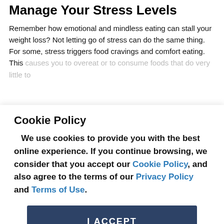Manage Your Stress Levels
Remember how emotional and mindless eating can stall your weight loss? Not letting go of stress can do the same thing. For some, stress triggers food cravings and comfort eating. This causes you to overeat or to consume foods that do very little to
Cookie Policy
We use cookies to provide you with the best online experience. If you continue browsing, we consider that you accept our Cookie Policy, and also agree to the terms of our Privacy Policy and Terms of Use.
I ACCEPT